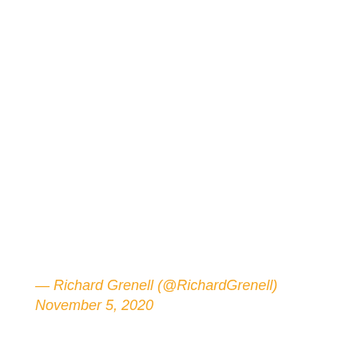— Richard Grenell (@RichardGrenell) November 5, 2020